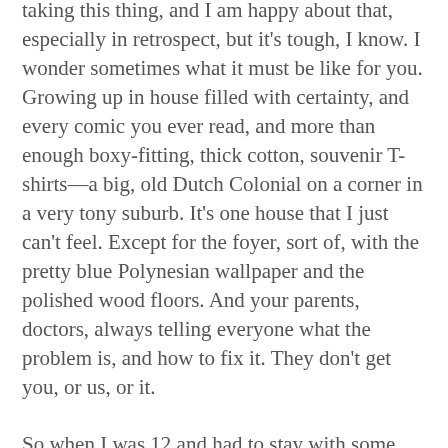taking this thing, and I am happy about that, especially in retrospect, but it's tough, I know. I wonder sometimes what it must be like for you. Growing up in house filled with certainty, and every comic you ever read, and more than enough boxy-fitting, thick cotton, souvenir T-shirts—a big, old Dutch Colonial on a corner in a very tony suburb. It's one house that I just can't feel. Except for the foyer, sort of, with the pretty blue Polynesian wallpaper and the polished wood floors. And your parents, doctors, always telling everyone what the problem is, and how to fix it. They don't get you, or us, or it.
So when I was 12 and had to stay with some family-friends because my dad was having his first heart attack of several and my mom was with him, I spent a lot of time soaking things in. This was an interesting family: The mom, Denise, was British. She had a perfect Dorothy Hamill haircut, teeth slanted slightly inward, which I loved, a